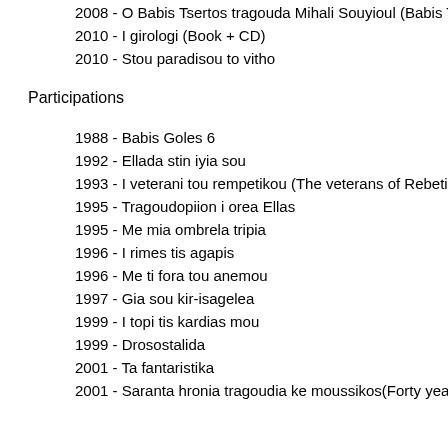2008 - O Babis Tsertos tragouda Mihali Souyioul (Babis Tsertos sing…
2010 - I girologi (Book + CD)
2010 - Stou paradisou to vitho
Participations
1988 - Babis Goles 6
1992 - Ellada stin iyia sou
1993 - I veterani tou rempetikou (The veterans of Rebetiko)
1995 - Tragoudopiion i orea Ellas
1995 - Me mia ombrela tripia
1996 - I rimes tis agapis
1996 - Me ti fora tou anemou
1997 - Gia sou kir-isagelea
1999 - I topi tis kardias mou
1999 - Drosostalida
2001 - Ta fantaristika
2001 - Saranta hronia tragoudia ke moussikos (Forty years of songs…